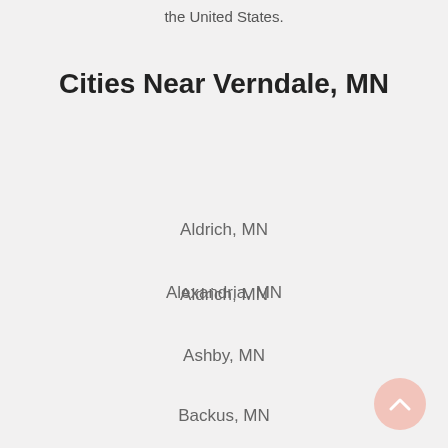the United States.
Cities Near Verndale, MN
Aldrich, MN
Alexandria, MN
Ashby, MN
Backus, MN
Bertha, MN